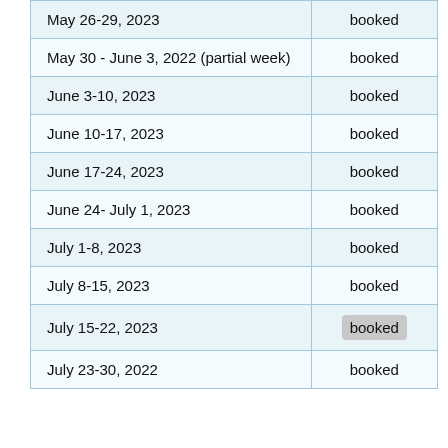| Date Range | Status |
| --- | --- |
| May 26-29, 2023 | booked |
| May 30 - June 3, 2022 (partial week) | booked |
| June 3-10, 2023 | booked |
| June 10-17, 2023 | booked |
| June 17-24, 2023 | booked |
| June 24- July 1, 2023 | booked |
| July 1-8, 2023 | booked |
| July 8-15, 2023 | booked |
| July 15-22, 2023 | booked |
| July 23-30, 2022 | booked |